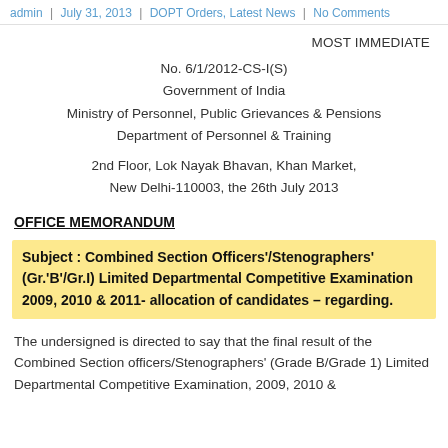admin | July 31, 2013 | DOPT Orders, Latest News | No Comments
MOST IMMEDIATE
No. 6/1/2012-CS-I(S)
Government of India
Ministry of Personnel, Public Grievances & Pensions
Department of Personnel & Training
2nd Floor, Lok Nayak Bhavan, Khan Market,
New Delhi-110003, the 26th July 2013
OFFICE MEMORANDUM
Subject : Combined Section Officers'/Stenographers' (Gr.'B'/Gr.I) Limited Departmental Competitive Examination 2009, 2010 & 2011- allocation of candidates – regarding.
The undersigned is directed to say that the final result of the Combined Section officers/Stenographers' (Grade B/Grade 1) Limited Departmental Competitive Examination, 2009, 2010 &